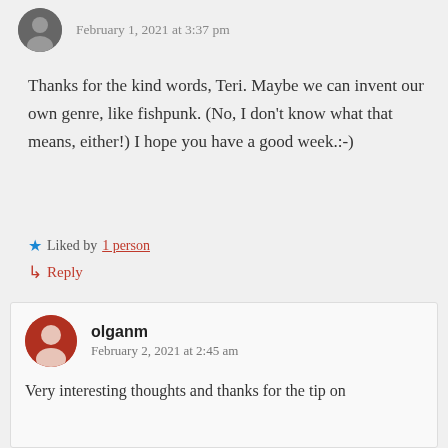February 1, 2021 at 3:37 pm
Thanks for the kind words, Teri. Maybe we can invent our own genre, like fishpunk. (No, I don’t know what that means, either!) I hope you have a good week.:-)
★ Liked by 1 person
↪ Reply
olganm
February 2, 2021 at 2:45 am
Very interesting thoughts and thanks for the tip on